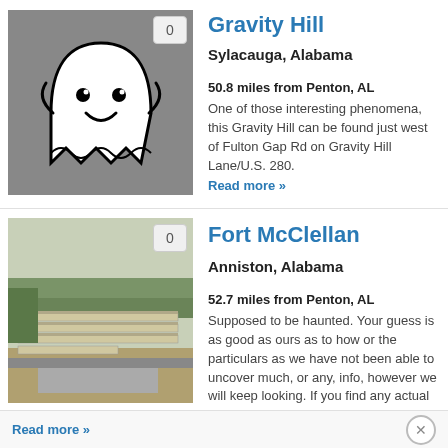Gravity Hill
Sylacauga, Alabama
50.8 miles from Penton, AL
One of those interesting phenomena, this Gravity Hill can be found just west of Fulton Gap Rd on Gravity Hill Lane/U.S. 280.
Read more »
Fort McClellan
Anniston, Alabama
52.7 miles from Penton, AL
Supposed to be haunted. Your guess is as good as ours as to how or the particulars as we have not been able to uncover much, or any, info, however we will keep looking. If you find any actual documentation on this haunting, let us know.
Read more »